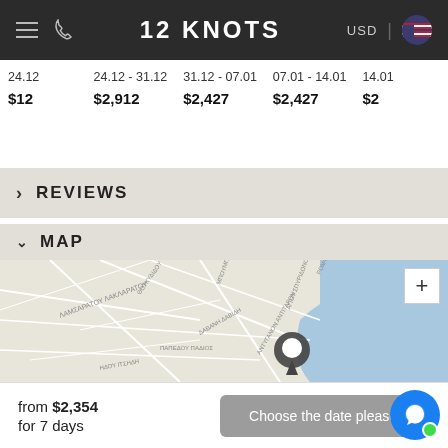12 KNOTS  USD
| 24.12 | 24.12 - 31.12 | 31.12 - 07.01 | 07.01 - 14.01 | 14.01 |
| --- | --- | --- | --- | --- |
| $12 | $2,912 | $2,427 | $2,427 | $2 |
> REVIEWS
v MAP
[Figure (map): Street map showing a coastal city area with streets labeled in Greek. A location pin marker is placed near the waterfront. A blue water body (bay) is visible on the right side. A zoom-in (+) button is shown in the top-right corner of the map.]
from $2,354
for 7 days
Choose the date please!